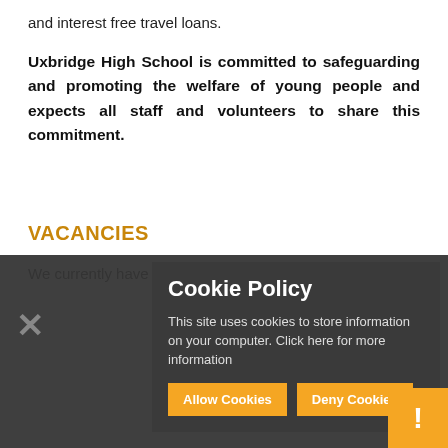and interest free travel loans.
Uxbridge High School is committed to safeguarding and promoting the welfare of young people and expects all staff and volunteers to share this commitment.
VACANCIES
We currently have vacancies in the followi...
Cookie Policy
This site uses cookies to store information on your computer. Click here for more information
Allow Cookies
Deny Cookies